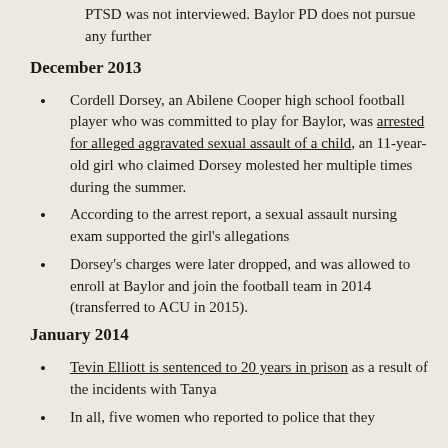PTSD was not interviewed. Baylor PD does not pursue any further
December 2013
Cordell Dorsey, an Abilene Cooper high school football player who was committed to play for Baylor, was arrested for alleged aggravated sexual assault of a child, an 11-year-old girl who claimed Dorsey molested her multiple times during the summer.
According to the arrest report, a sexual assault nursing exam supported the girl's allegations
Dorsey's charges were later dropped, and was allowed to enroll at Baylor and join the football team in 2014 (transferred to ACU in 2015).
January 2014
Tevin Elliott is sentenced to 20 years in prison as a result of the incidents with Tanya
In all, five women who reported to police that they